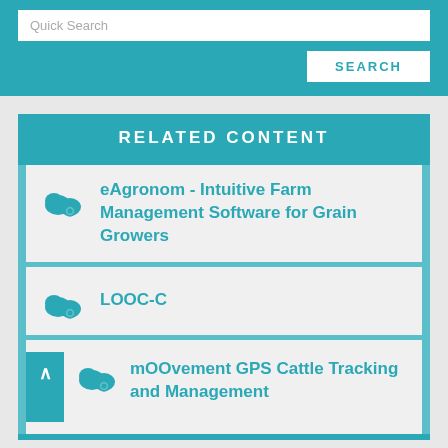Quick Search
SEARCH
RELATED CONTENT
eAgronom - Intuitive Farm Management Software for Grain Growers
LOOC-C
mOOvement GPS Cattle Tracking and Management